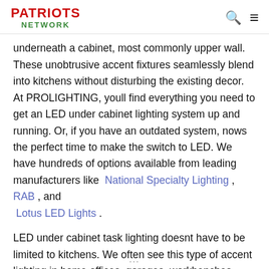PATRIOTS NETWORK
underneath a cabinet, most commonly upper wall. These unobtrusive accent fixtures seamlessly blend into kitchens without disturbing the existing decor. At PROLIGHTING, youll find everything you need to get an LED under cabinet lighting system up and running. Or, if you have an outdated system, nows the perfect time to make the switch to LED. We have hundreds of options available from leading manufacturers like National Specialty Lighting , RAB , and Lotus LED Lights .
LED under cabinet task lighting doesnt have to be limited to kitchens. We often see this type of accent lighting in home offices, garages, workbenches, craft rooms, and more. Many fixtures, like puck lights, can function as display